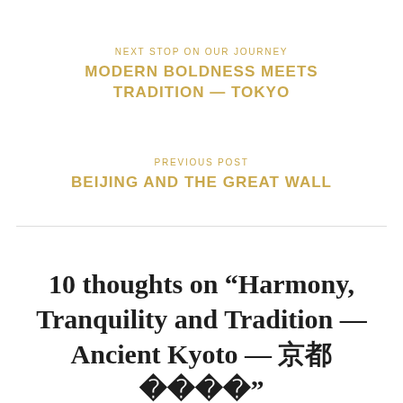NEXT STOP ON OUR JOURNEY
MODERN BOLDNESS MEETS TRADITION — TOKYO
PREVIOUS POST
BEIJING AND THE GREAT WALL
10 thoughts on “Harmony, Tranquility and Tradition — Ancient Kyoto — 京都����”